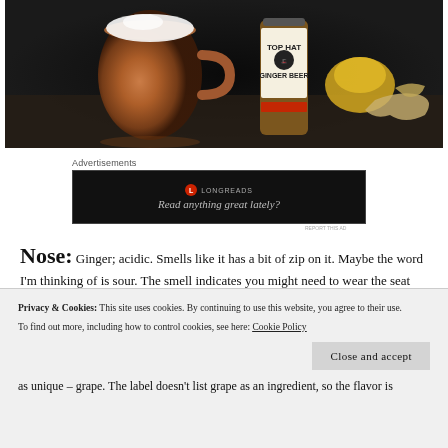[Figure (photo): Photo of a copper Moscow mule mug, a Top Hat Ginger Beer bottle, lemon slices, and ginger root on a dark wooden surface]
Advertisements
[Figure (screenshot): Longreads advertisement banner: logo with 'L LONGREADS' and tagline 'Read anything great lately?']
Nose: Ginger; acidic. Smells like it has a bit of zip on it. Maybe the word I'm thinking of is sour. The smell indicates you might need to wear the seat belt.
Privacy & Cookies: This site uses cookies. By continuing to use this website, you agree to their use. To find out more, including how to control cookies, see here: Cookie Policy
as unique – grape. The label doesn't list grape as an ingredient, so the flavor is